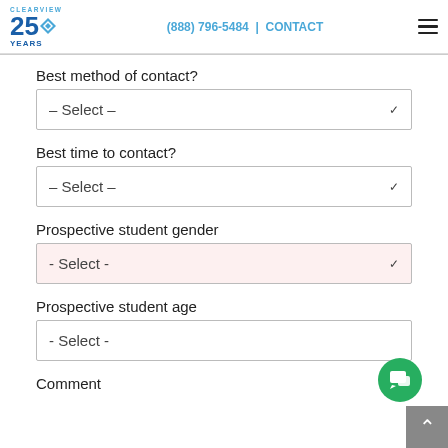CLEARVIEW 25 YEARS | (888) 796-5484 | CONTACT
Best method of contact?
– Select –
Best time to contact?
– Select –
Prospective student gender
- Select -
Prospective student age
- Select -
Comment